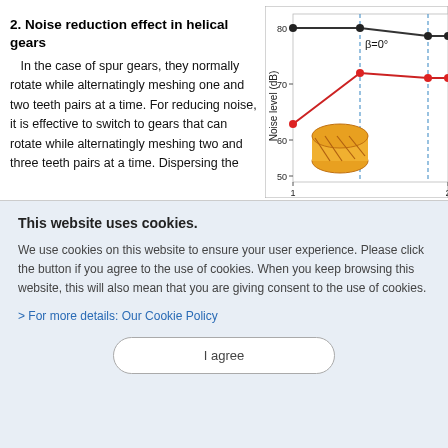2. Noise reduction effect in helical gears
In the case of spur gears, they normally rotate while alternatingly meshing one and two teeth pairs at a time. For reducing noise, it is effective to switch to gears that can rotate while alternatingly meshing two and three teeth pairs at a time. Dispersing the
[Figure (continuous-plot): Line chart showing Noise level (dB) vs contact ratio for beta=0 degrees (dark line, higher, ~78 dB) and a lower red line (~65 dB), with a helical gear illustration (gold/orange colored). Y-axis: 50-80 dB, X-axis: 1 to 2+. Dashed vertical lines at x~1.5 and x~2. Label β=0° on upper line.]
This website uses cookies.
We use cookies on this website to ensure your user experience. Please click the button if you agree to the use of cookies. When you keep browsing this website, this will also mean that you are giving consent to the use of cookies.
> For more details: Our Cookie Policy
I agree